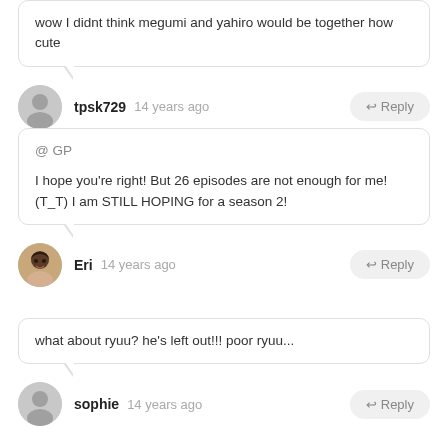wow I didnt think megumi and yahiro would be together how cute
tpsk729  14 years ago  ↩ Reply
@ GP
I hope you're right! But 26 episodes are not enough for me! (T_T) I am STILL HOPING for a season 2!
Eri  14 years ago  ↩ Reply
what about ryuu? he's left out!!! poor ryuu...
sophie  14 years ago  ↩ Reply